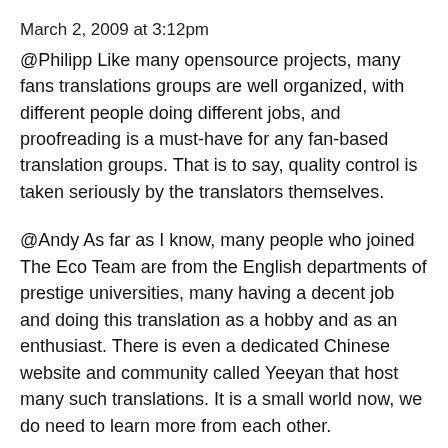March 2, 2009 at 3:12pm
@Philipp Like many opensource projects, many fans translations groups are well organized, with different people doing different jobs, and proofreading is a must-have for any fan-based translation groups. That is to say, quality control is taken seriously by the translators themselves.
@Andy As far as I know, many people who joined The Eco Team are from the English departments of prestige universities, many having a decent job and doing this translation as a hobby and as an enthusiast. There is even a dedicated Chinese website and community called Yeeyan that host many such translations. It is a small world now, we do need to learn more from each other.